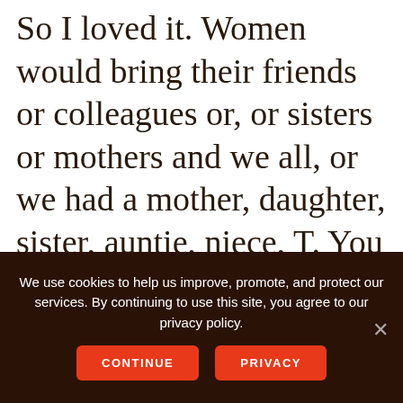So I loved it. Women would bring their friends or colleagues or, or sisters or mothers and we all, or we had a mother, daughter, sister, auntie, niece, T. You know where you would break ready. So cute because there are Women on Fire members who are in their 20s but of course I think of them as 16 because they came to
We use cookies to help us improve, promote, and protect our services. By continuing to use this site, you agree to our privacy policy.